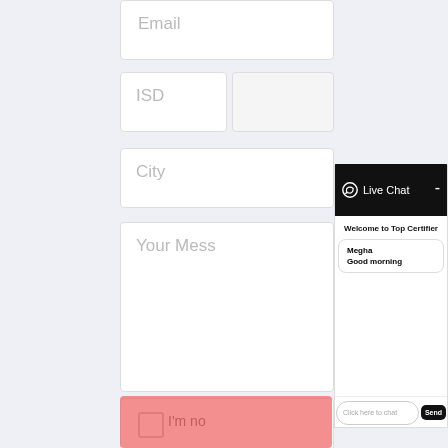[Figure (screenshot): Background web form with fields: Email, ISD, City, Your Message, checkbox with 'I'm no...' text, and a red submit button. Overlaid by a Live Chat widget panel.]
Email
ISD
City
Your Mess
I'm no
Live Chat
Welcome to Top Certifier
Megha
Good morning
Click here to chat
Send